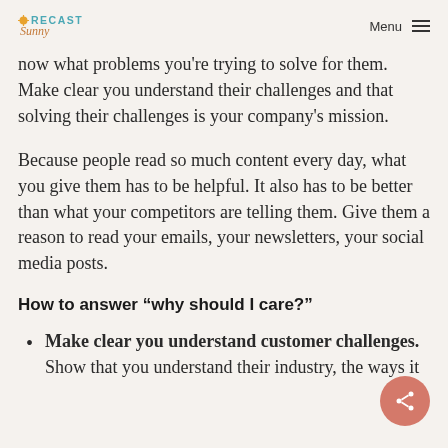FORECAST Sunny | Menu
now what problems you're trying to solve for them. Make clear you understand their challenges and that solving their challenges is your company's mission.
Because people read so much content every day, what you give them has to be helpful. It also has to be better than what your competitors are telling them. Give them a reason to read your emails, your newsletters, your social media posts.
How to answer “why should I care?”
Make clear you understand customer challenges. Show that you understand their industry, the ways it